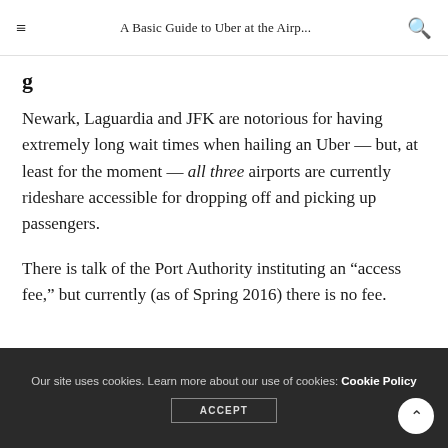A Basic Guide to Uber at the Airp...
Newark, Laguardia and JFK are notorious for having extremely long wait times when hailing an Uber — but, at least for the moment — all three airports are currently rideshare accessible for dropping off and picking up passengers.
There is talk of the Port Authority instituting an “access fee,” but currently (as of Spring 2016) there is no fee.
Our site uses cookies. Learn more about our use of cookies: Cookie Policy ACCEPT